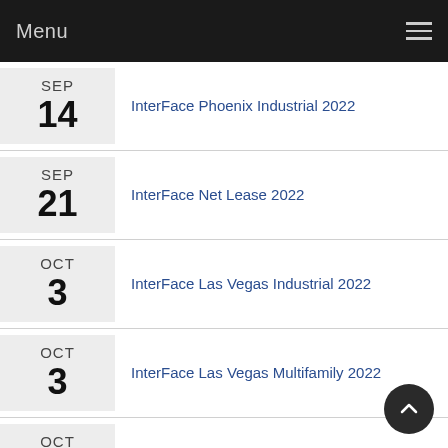Menu
SEP 14 InterFace Phoenix Industrial 2022
SEP 21 InterFace Net Lease 2022
OCT 3 InterFace Las Vegas Industrial 2022
OCT 3 InterFace Las Vegas Multifamily 2022
OCT 20 InterFace Seniors Housing Midwest 2022